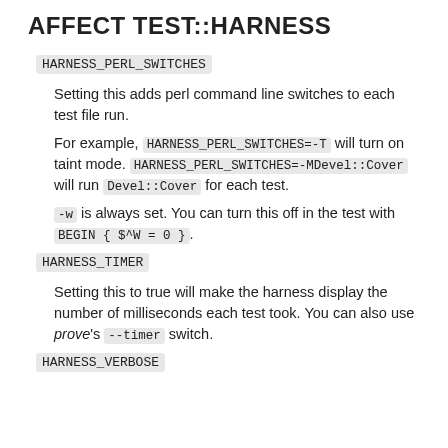AFFECT TEST::HARNESS
HARNESS_PERL_SWITCHES
Setting this adds perl command line switches to each test file run.
For example, HARNESS_PERL_SWITCHES=-T will turn on taint mode. HARNESS_PERL_SWITCHES=-MDevel::Cover will run Devel::Cover for each test.
-w is always set. You can turn this off in the test with BEGIN { $^W = 0 }.
HARNESS_TIMER
Setting this to true will make the harness display the number of milliseconds each test took. You can also use prove's --timer switch.
HARNESS_VERBOSE